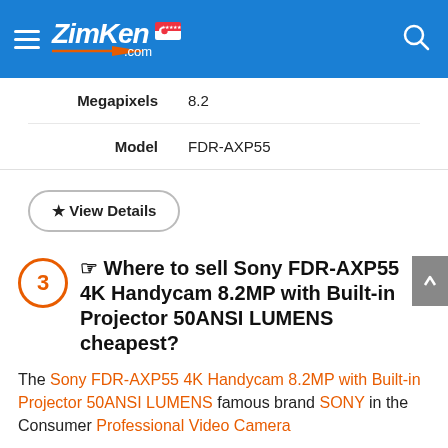ZimKen.com
| Attribute | Value |
| --- | --- |
| Megapixels | 8.2 |
| Model | FDR-AXP55 |
★ View Details
3  ☞ Where to sell Sony FDR-AXP55 4K Handycam 8.2MP with Built-in Projector 50ANSI LUMENS cheapest?
The Sony FDR-AXP55 4K Handycam 8.2MP with Built-in Projector 50ANSI LUMENS famous brand SONY in the Consumer Professional Video Camera